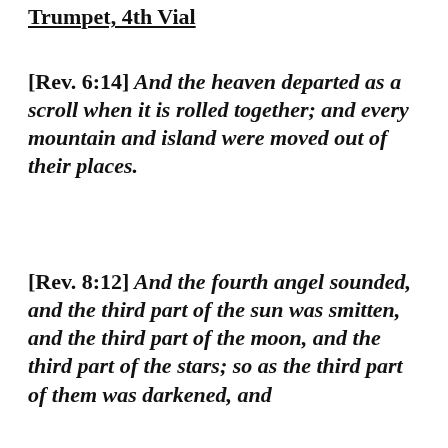Trumpet, 4th Vial
[Rev. 6:14] And the heaven departed as a scroll when it is rolled together; and every mountain and island were moved out of their places.
[Rev. 8:12] And the fourth angel sounded, and the third part of the sun was smitten, and the third part of the moon, and the third part of the stars; so as the third part of them was darkened, and